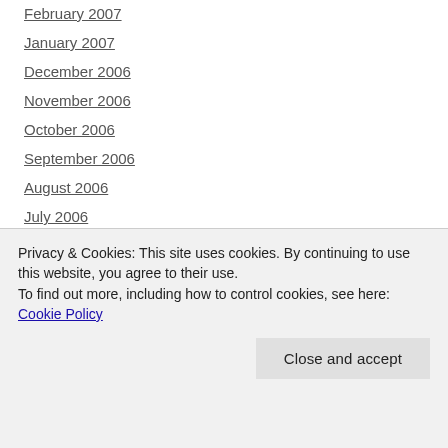February 2007
January 2007
December 2006
November 2006
October 2006
September 2006
August 2006
July 2006
June 2006
May 2006
April 2006
March 2006
February 2006
Privacy & Cookies: This site uses cookies. By continuing to use this website, you agree to their use. To find out more, including how to control cookies, see here: Cookie Policy
Close and accept
August 2005